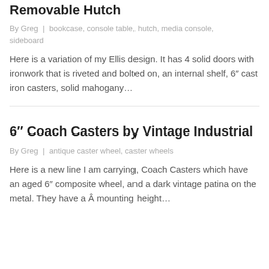Removable Hutch
By Greg | bookcase, console table, hutch, media console, sideboard
Here is a variation of my Ellis design. It has 4 solid doors with ironwork that is riveted and bolted on, an internal shelf, 6" cast iron casters, solid mahogany…
6" Coach Casters by Vintage Industrial
By Greg | antique caster wheel, caster wheels
Here is a new line I am carrying, Coach Casters which have an aged 6" composite wheel, and a dark vintage patina on the metal. They have a Â mounting height…